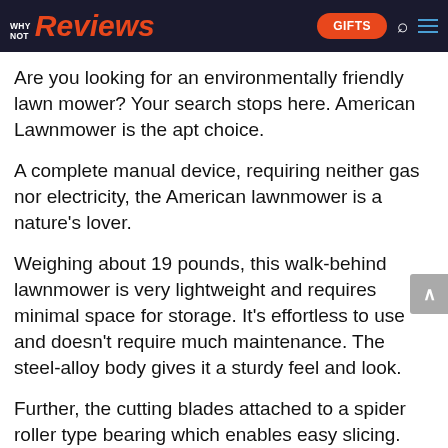WHY NOT Reviews — GIFTS
Are you looking for an environmentally friendly lawn mower? Your search stops here. American Lawnmower is the apt choice.
A complete manual device, requiring neither gas nor electricity, the American lawnmower is a nature's lover.
Weighing about 19 pounds, this walk-behind lawnmower is very lightweight and requires minimal space for storage. It's effortless to use and doesn't require much maintenance. The steel-alloy body gives it a sturdy feel and look.
Further, the cutting blades attached to a spider roller type bearing which enables easy slicing. The cutting edge of an amalgam of steel makes it easy to function.